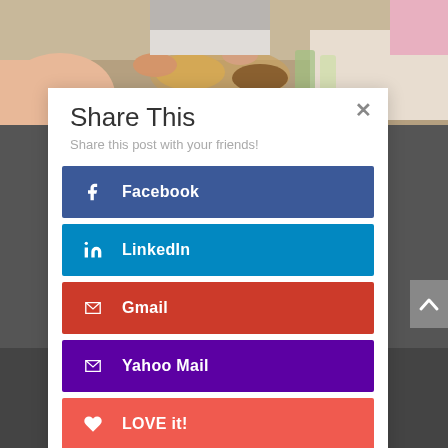[Figure (photo): People sharing a meal at a table, viewed from above, crops of arms and food visible.]
Share This
Share this post with your friends!
Facebook
LinkedIn
Gmail
Yahoo Mail
LOVE it!